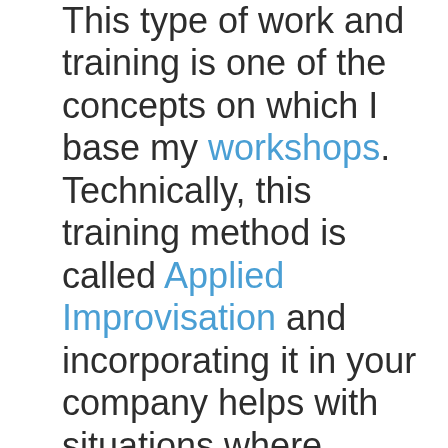This type of work and training is one of the concepts on which I base my workshops. Technically, this training method is called Applied Improvisation and incorporating it in your company helps with situations where planning becomes impossible because of time pressure and you and your teammates